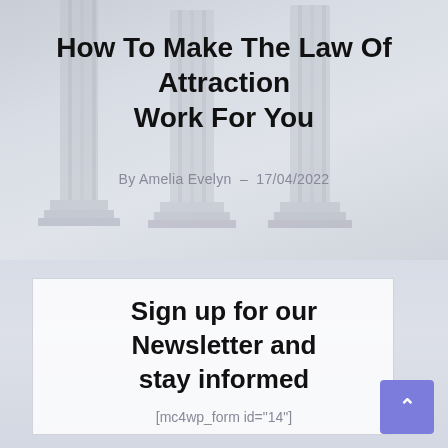How To Make The Law Of Attraction Work For You
By Amelia Evelyn  –  17/04/2022
Sign up for our Newsletter and stay informed
[mc4wp_form id="14"]